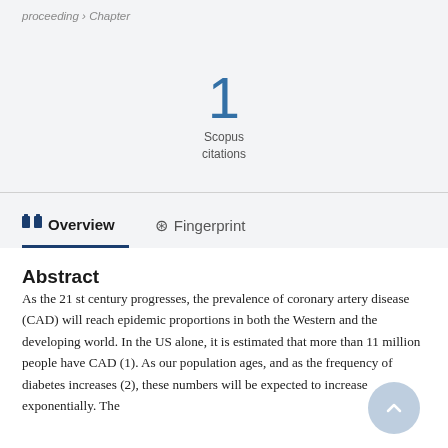proceeding › Chapter
1
Scopus
citations
Overview   Fingerprint
Abstract
As the 21 st century progresses, the prevalence of coronary artery disease (CAD) will reach epidemic proportions in both the Western and the developing world. In the US alone, it is estimated that more than 11 million people have CAD (1). As our population ages, and as the frequency of diabetes increases (2), these numbers will be expected to increase exponentially. The